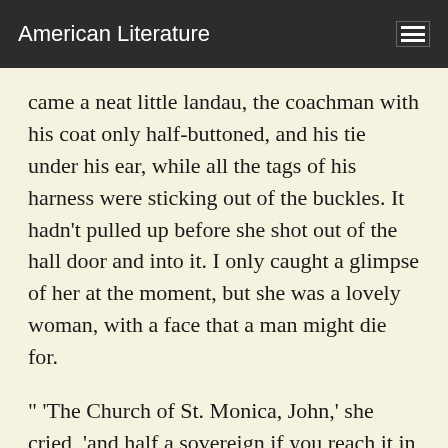American Literature
came a neat little landau, the coachman with his coat only half-buttoned, and his tie under his ear, while all the tags of his harness were sticking out of the buckles. It hadn't pulled up before she shot out of the hall door and into it. I only caught a glimpse of her at the moment, but she was a lovely woman, with a face that a man might die for.
" 'The Church of St. Monica, John,' she cried, 'and half a sovereign if you reach it in twenty minutes.'
"This was quite too good to lose, Watson. I was just balancing whether I should run for it, or whether I should perch behind her landau when a cab came